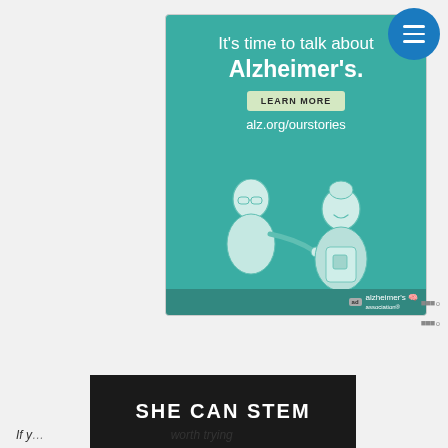[Figure (illustration): Advertisement banner for Alzheimer's Association. Teal background with white text 'It's time to talk about Alzheimer's.' and 'LEARN MORE' button, URL alz.org/ourstories, illustrated drawing of elderly man and woman, Alzheimer's Association logo with 'ad' badge. Close button (X) in top right corner.]
[Figure (illustration): Dark background banner with white bold text 'SHE CAN STEM']
If y... worth trying...